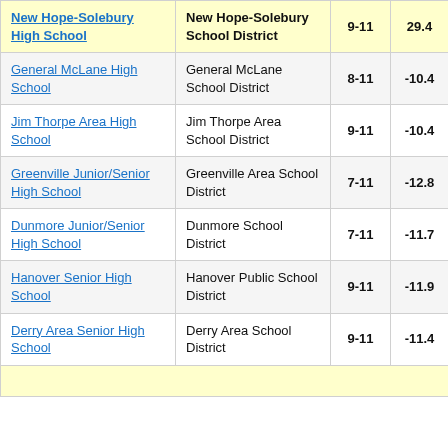| School | District | Grades | Score | ... |
| --- | --- | --- | --- | --- |
| New Hope-Solebury High School | New Hope-Solebury School District | 9-11 | 29.4 | ... |
| General McLane High School | General McLane School District | 8-11 | -10.4 | ... |
| Jim Thorpe Area High School | Jim Thorpe Area School District | 9-11 | -10.4 | ... |
| Greenville Junior/Senior High School | Greenville Area School District | 7-11 | -12.8 | ... |
| Dunmore Junior/Senior High School | Dunmore School District | 7-11 | -11.7 | ... |
| Hanover Senior High School | Hanover Public School District | 9-11 | -11.9 | ... |
| Derry Area Senior High School | Derry Area School District | 9-11 | -11.4 | ... |